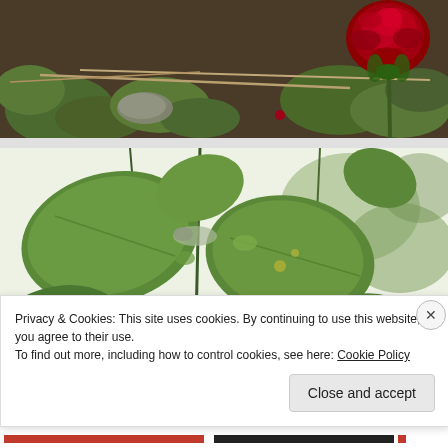[Figure (photo): Close-up photo of a red rose bloom above green foliage and dry twigs on dark soil background]
[Figure (photo): Close-up photo of green leaves (possibly rose or vine plant) against a bright/white sky background]
Privacy & Cookies: This site uses cookies. By continuing to use this website, you agree to their use.
To find out more, including how to control cookies, see here: Cookie Policy
Close and accept